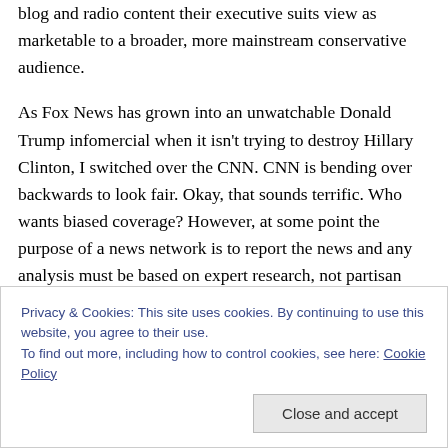blog and radio content their executive suits view as marketable to a broader, more mainstream conservative audience.
As Fox News has grown into an unwatchable Donald Trump infomercial when it isn't trying to destroy Hillary Clinton, I switched over the CNN. CNN is bending over backwards to look fair. Okay, that sounds terrific. Who wants biased coverage? However, at some point the purpose of a news network is to report the news and any analysis must be based on expert research, not partisan opinion.
Privacy & Cookies: This site uses cookies. By continuing to use this website, you agree to their use. To find out more, including how to control cookies, see here: Cookie Policy